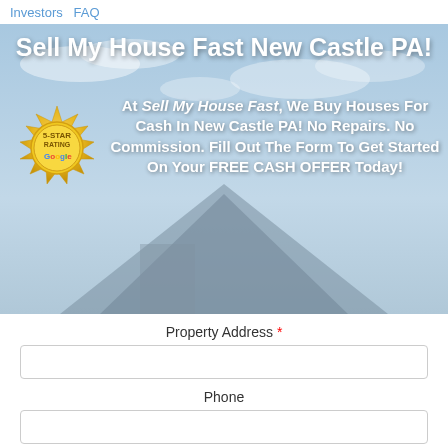Investors  FAQ
Sell My House Fast New Castle PA!
At Sell My House Fast, We Buy Houses For Cash In New Castle PA! No Repairs. No Commission. Fill Out The Form To Get Started On Your FREE CASH OFFER Today!
[Figure (illustration): Gold 5-star rating badge with Google branding]
Property Address *
Phone